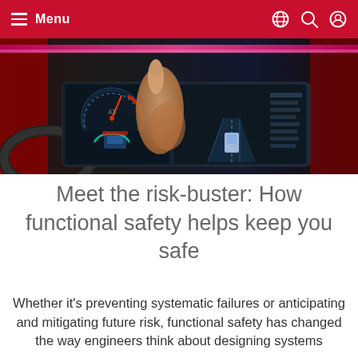Menu
[Figure (photo): Car dashboard with digital display screens showing driver assistance features, a hand pointing at the screen, with speedometer and navigation visuals on the displays.]
Meet the risk-buster: How functional safety helps keep you safe
Whether it's preventing systematic failures or anticipating and mitigating future risk, functional safety has changed the way engineers think about designing systems